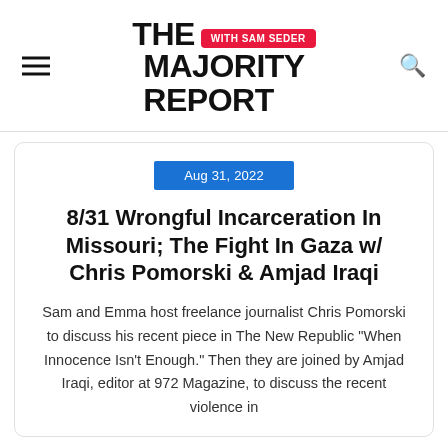THE MAJORITY REPORT WITH SAM SEDER
Aug 31, 2022
8/31 Wrongful Incarceration In Missouri; The Fight In Gaza w/ Chris Pomorski & Amjad Iraqi
Sam and Emma host freelance journalist Chris Pomorski to discuss his recent piece in The New Republic "When Innocence Isn't Enough." Then they are joined by Amjad Iraqi, editor at 972 Magazine, to discuss the recent violence in